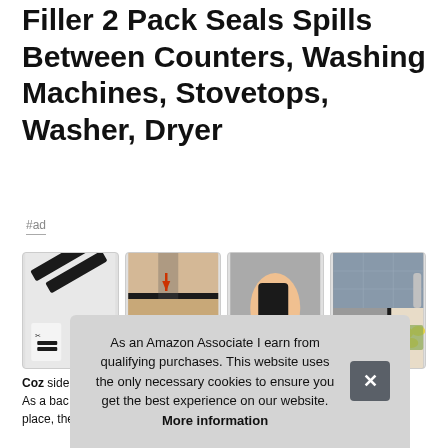Filler 2 Pack Seals Spills Between Counters, Washing Machines, Stovetops, Washer, Dryer
#ad
[Figure (photo): Four product images showing black silicone gap filler strips: (1) product packaging showing two strips with scissors trimming them, (2) strip installed between stove and counter, (3) hand peeling/installing strip, (4) kitchen stove with strip installed between counter and appliance with lemons on counter]
Coz side As a bac place, the flexible silicone gap cover conforms to stove and
As an Amazon Associate I earn from qualifying purchases. This website uses the only necessary cookies to ensure you get the best experience on our website. More information